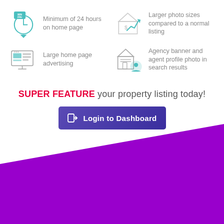[Figure (illustration): Four feature icons with descriptive text in a 2x2 grid: (1) clock icon with MIN 24hr label - Minimum of 24 hours on home page; (2) house with upward chart arrow - Larger photo sizes compared to a normal listing; (3) desktop monitor/browser icon - Large home page advertising; (4) house with profile/document icon - Agency banner and agent profile photo in search results]
SUPER FEATURE your property listing today!
[Figure (illustration): Blue/purple button with login icon: Login to Dashboard]
[Figure (illustration): Purple diagonal background shape at bottom of page]